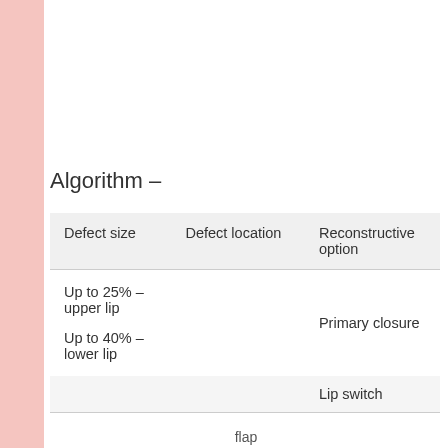Algorithm –
| Defect size | Defect location | Reconstructive option |
| --- | --- | --- |
| Up to 25% – upper lip

Up to 40% – lower lip |  | Primary closure |
|  |  | Lip switch |
Privacy & Cookies: This site uses cookies. By continuing to use this website, you agree to their use.
To find out more, including how to control cookies, see here: Cookie Policy
flap